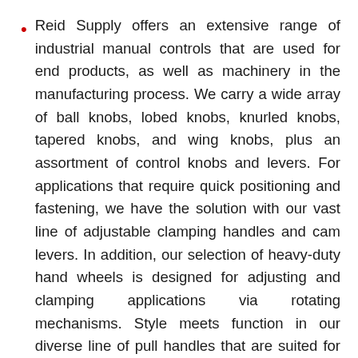Reid Supply offers an extensive range of industrial manual controls that are used for end products, as well as machinery in the manufacturing process. We carry a wide array of ball knobs, lobed knobs, knurled knobs, tapered knobs, and wing knobs, plus an assortment of control knobs and levers. For applications that require quick positioning and fastening, we have the solution with our vast line of adjustable clamping handles and cam levers. In addition, our selection of heavy-duty hand wheels is designed for adjusting and clamping applications via rotating mechanisms. Style meets function in our diverse line of pull handles that are suited for a variety of uses. Our full selection of knobs, handles, and hand wheels contains a wide range of materials from high-density thermoplastic, phenolic, and polypropylene to durable stainless steel, aluminum, and cast iron. Check out our complete line of industrial manual controls